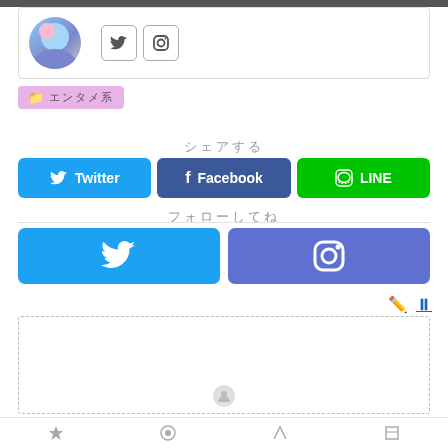[Figure (screenshot): Top navigation bar (dark gray strip)]
[Figure (screenshot): Profile card with avatar image and Twitter/Instagram icon buttons]
カテゴリー（フォルダアイコン付きラベル：エンタメ系カテゴリ）
シェアする（Share label in Japanese, centered）
[Figure (infographic): Three share buttons: Twitter (blue), Facebook (dark blue), LINE (green)]
フォローしてね（Follow label in Japanese, centered）
[Figure (infographic): Two follow buttons: Twitter (blue bird icon) and Instagram (purple/blue camera icon)]
[Figure (screenshot): Edit pencil icon and column/pause icon in top-right area]
[Figure (screenshot): Comment section with dashed border and avatar at bottom]
Bottom navigation bar with icons